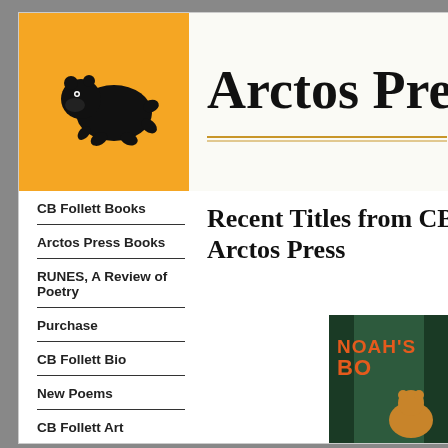[Figure (logo): Arctos Press logo: black bear silhouette leaping/running on an orange/yellow square background]
Arctos Pre
CB Follett Books
Arctos Press Books
RUNES, A Review of Poetry
Purchase
CB Follett Bio
New Poems
CB Follett Art
Recent Titles from CB Arctos Press
[Figure (photo): Book cover for Noah's B... showing a bear in a dark forest with large orange text reading NOAH'S BO...]